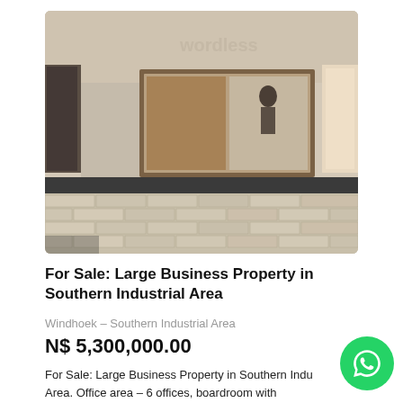[Figure (photo): Interior photo of a commercial property showing a brick reception counter with dark granite top, a window/pass-through opening with wooden frame, and another person visible in the background. Bare concrete walls and tiled floor.]
For Sale: Large Business Property in Southern Industrial Area
Windhoek – Southern Industrial Area
N$ 5,300,000.00
For Sale: Large Business Property in Southern Industrial Area. Office area – 6 offices, boardroom with